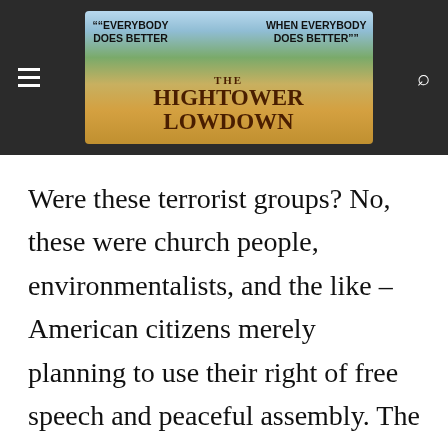The Hightower Lowdown — "Everybody Does Better When Everybody Does Better"
Were these terrorist groups? No, these were church people, environmentalists, and the like – American citizens merely planning to use their right of free speech and peaceful assembly. The surveillance of these people was totally silly – not to mention unconstitutional and a vast waste of time and money. Indeed, NYPD's special